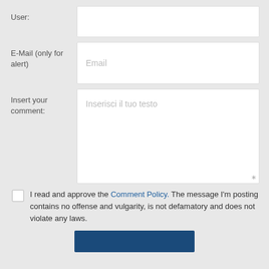User:
E-Mail (only for alert)
Insert your comment:
I read and approve the Comment Policy. The message I'm posting contains no offense and vulgarity, is not defamatory and does not violate any laws.